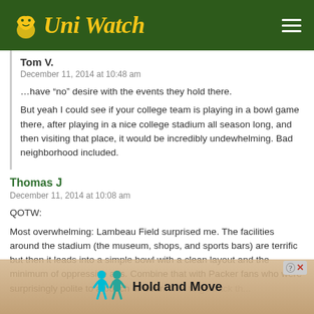Uni Watch
Tom V.
December 11, 2014 at 10:48 am
...have “no” desire with the events they hold there.
But yeah I could see if your college team is playing in a bowl game there, after playing in a nice college stadium all season long, and then visiting that place, it would be incredibly undewhelming. Bad neighborhood included.
Thomas J
December 11, 2014 at 10:08 am
QOTW:
Most overwhelming: Lambeau Field surprised me. The facilities around the stadium (the museum, shops, and sports bars) are terrific but then it leads into a simple bowl with a clean layout and the minimum of oppressive ads. Combine that with Packer fans who were surprisingly polite to a bunch of Bear... ...n to go back th...
[Figure (other): Mobile advertisement overlay at the bottom of the page showing two blue cartoon figures and the text 'Hold and Move' with a close button]